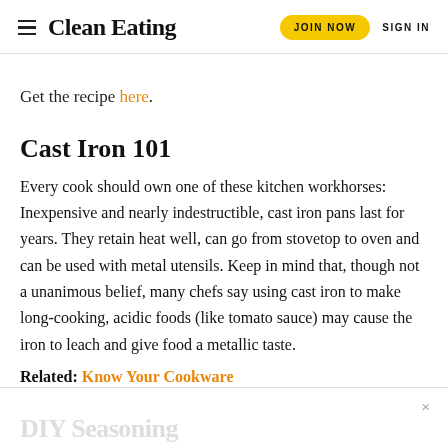Clean Eating | JOIN NOW | SIGN IN
Get the recipe here.
Cast Iron 101
Every cook should own one of these kitchen workhorses: Inexpensive and nearly indestructible, cast iron pans last for years. They retain heat well, can go from stovetop to oven and can be used with metal utensils. Keep in mind that, though not a unanimous belief, many chefs say using cast iron to make long-cooking, acidic foods (like tomato sauce) may cause the iron to leach and give food a metallic taste.
Related: Know Your Cookware
DIY Seasoning